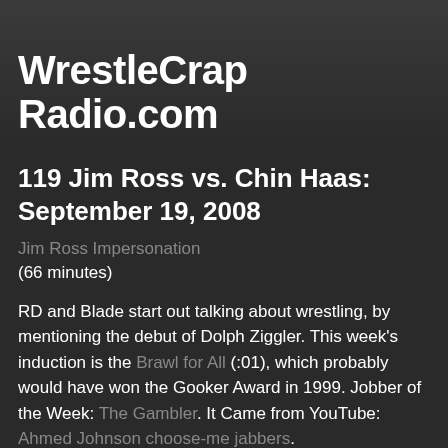WrestleCrap Radio.com
119 Jim Ross vs. Chin Haas: September 19, 2008
Jim Ross Impersonation
(66 minutes)
RD and Blade start out talking about wrestling, by mentioning the debut of Dolph Ziggler. This week's induction is the Brawl for All (:01), which probably would have won the Gooker Award in 1999. Jobber of the Week: The Gambler. It Came from YouTube: Ahmed Johnson choose-me jabbers.
is interrupted in progress with Club Hot...